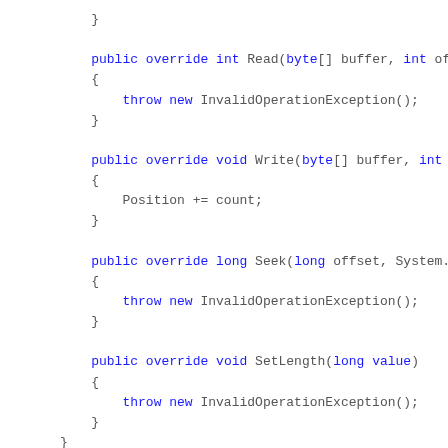Code snippet showing C# class methods: Read, Write, Seek, SetLength overrides throwing InvalidOperationException or incrementing Position.